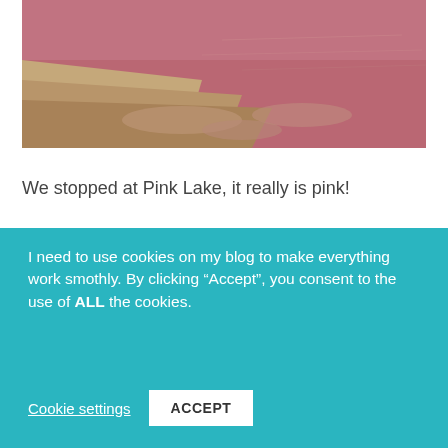[Figure (photo): Photo of Pink Lake shoreline showing pink-colored water adjacent to sandy/rocky shore]
We stopped at Pink Lake, it really is pink!
[Figure (photo): Partial photo showing green vegetation and brown/tan structures]
I need to use cookies on my blog to make everything work smothly. By clicking “Accept”, you consent to the use of ALL the cookies.
Cookie settings
ACCEPT